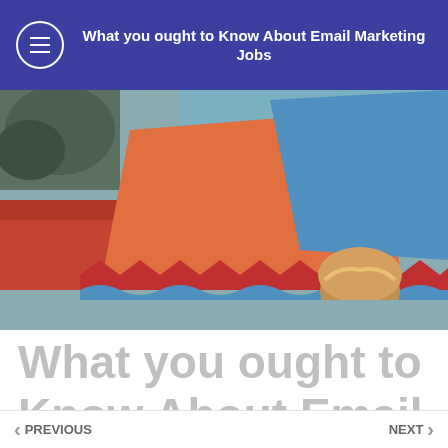What you ought to Know About Email Marketing Jobs
[Figure (photo): Outdoor photo showing colorful decorative shapes in orange, blue, and red with zigzag/wave patterns, with a person with blonde hair partially visible and a red-roofed building and trees in the background.]
What you ought to Know About Email Marketing Jobs
PREVIOUS  NEXT